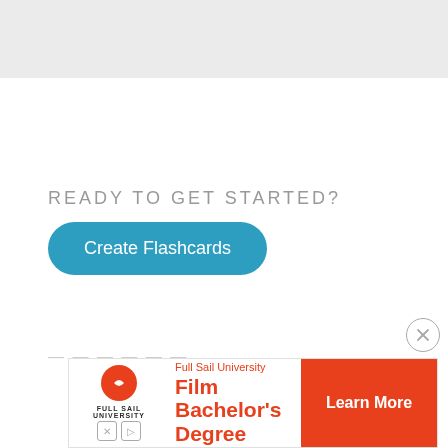[Figure (screenshot): Gray top bar UI element]
READY TO GET STARTED?
Create Flashcards
— — — — — —
[Figure (infographic): Full Sail University advertisement banner with Film Bachelor's Degree and Learn More button]